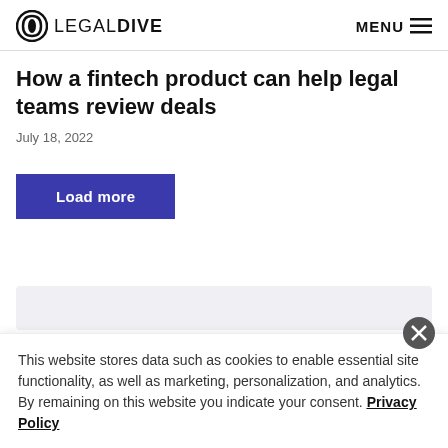LEGAL DIVE | MENU
How a fintech product can help legal teams review deals
July 18, 2022
Load more
This website stores data such as cookies to enable essential site functionality, as well as marketing, personalization, and analytics. By remaining on this website you indicate your consent. Privacy Policy